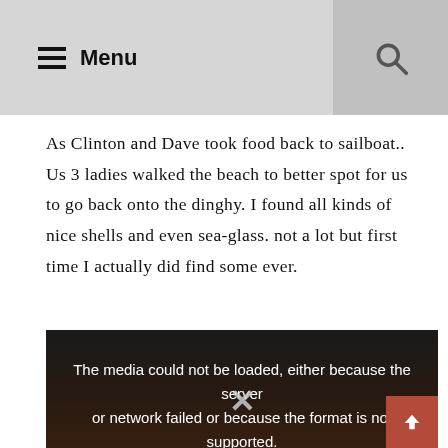Menu
As Clinton and Dave took food back to sailboat.. Us 3 ladies walked the beach to better spot for us to go back onto the dinghy. I found all kinds of nice shells and even sea-glass. not a lot but first time I actually did find some ever.
[Figure (screenshot): Video player with dark background showing error message: 'The media could not be loaded, either because the server or network failed or because the format is not supported.' An X close button is visible at the bottom center.]